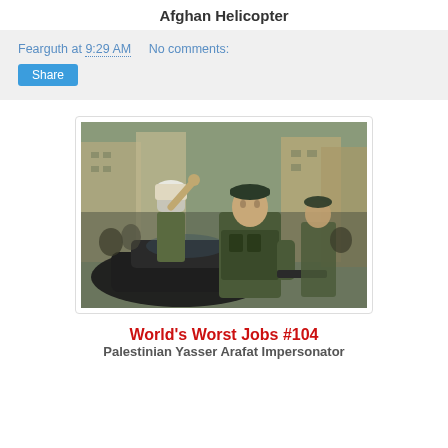Afghan Helicopter
Fearguth at 9:29 AM   No comments:
[Figure (photo): Street scene with soldiers in military gear and a man in a keffiyeh gesturing in a crowd, urban background with buildings]
World's Worst Jobs #104
Palestinian Yasser Arafat Impersonator